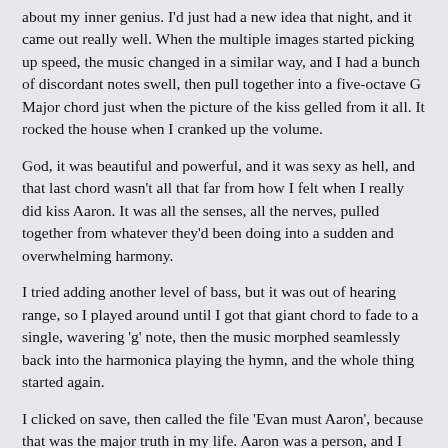about my inner genius. I'd just had a new idea that night, and it came out really well. When the multiple images started picking up speed, the music changed in a similar way, and I had a bunch of discordant notes swell, then pull together into a five-octave G Major chord just when the picture of the kiss gelled from it all. It rocked the house when I cranked up the volume.
God, it was beautiful and powerful, and it was sexy as hell, and that last chord wasn't all that far from how I felt when I really did kiss Aaron. It was all the senses, all the nerves, pulled together from whatever they'd been doing into a sudden and overwhelming harmony.
I tried adding another level of bass, but it was out of hearing range, so I played around until I got that giant chord to fade to a single, wavering 'g' note, then the music morphed seamlessly back into the harmonica playing the hymn, and the whole thing started again.
I clicked on save, then called the file 'Evan must Aaron', because that was the major truth in my life. Aaron was a person, and I loved him. I also messed around with his name, using it as a noun, a verb, an adverb and an adjective. I Aaroned when I made a certain gesture, said something in a certain way, and I Aaroned in a totally different way when I jumped his bones. I had Aaron moments for the same reasons, but also when I got to spend special time with him: Aaron time. And yes, I could do some things so Aaronly that